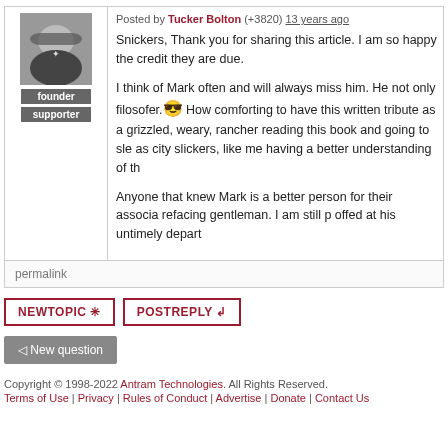Posted by Tucker Bolton (+3820) 13 years ago
Snickers, Thank you for sharing this article. I am so happy the credit they are due.
I think of Mark often and will always miss him. He not only filosofer.😎 How comforting to have this written tribute as a grizzled, weary, rancher reading this book and going to sle as city slickers, like me having a better understanding of th
Anyone that knew Mark is a better person for their associa refacing gentleman. I am still p offed at his untimely depart
permalink
NEWTOPIC ✳ POSTREPLY ↲
◁ New question
Copyright © 1998-2022 Antram Technologies. All Rights Reserved. Terms of Use | Privacy | Rules of Conduct | Advertise | Donate | Contact Us